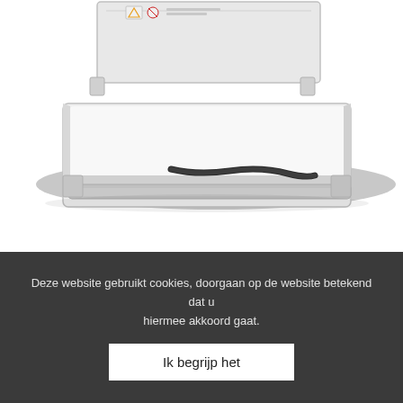[Figure (photo): Photo of a baby changing table (Babyverschoontafel) in stainless steel/RVS finish, shown in open/horizontal position with a safety strap visible, viewed from a slightly elevated angle. The product is white/silver grey with a metal rim.]
Babyverschoontafel verticaal RVS
€ 775,68 excl BTW € 938,57 incl BTW
Deze website gebruikt cookies, doorgaan op de website betekend dat u hiermee akkoord gaat.
Ik begrijp het